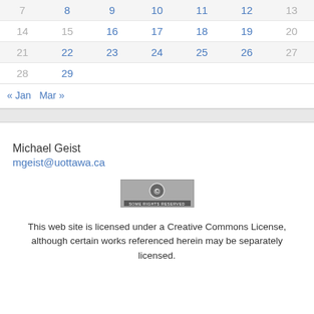| 7 | 8 | 9 | 10 | 11 | 12 | 13 |
| 14 | 15 | 16 | 17 | 18 | 19 | 20 |
| 21 | 22 | 23 | 24 | 25 | 26 | 27 |
| 28 | 29 |  |  |  |  |  |
« Jan   Mar »
Michael Geist
mgeist@uottawa.ca
[Figure (logo): Creative Commons 'Some Rights Reserved' badge]
This web site is licensed under a Creative Commons License, although certain works referenced herein may be separately licensed.